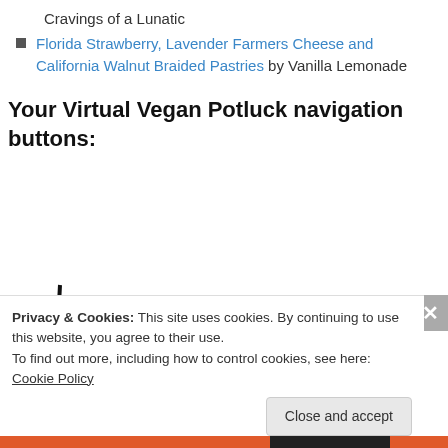Cravings of a Lunatic
Florida Strawberry, Lavender Farmers Cheese and California Walnut Braided Pastries by Vanilla Lemonade
Your Virtual Vegan Potluck navigation buttons:
[Figure (illustration): A leaf illustration with green and black coloring — part of a logo or navigation button image]
Privacy & Cookies: This site uses cookies. By continuing to use this website, you agree to their use.
To find out more, including how to control cookies, see here: Cookie Policy
Close and accept